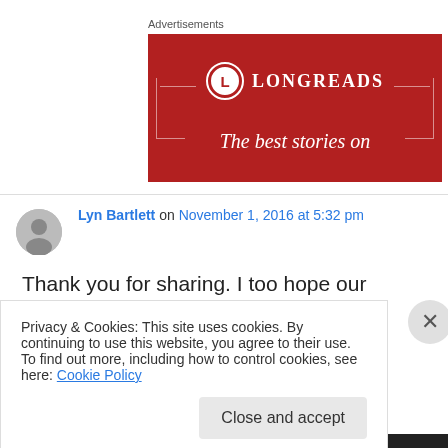Advertisements
[Figure (illustration): Longreads advertisement banner — red background, circular logo with 'L', text 'LONGREADS', decorative bracket lines, tagline 'The best stories on']
Lyn Bartlett on November 1, 2016 at 5:32 pm
Thank you for sharing. I too hope our country
Privacy & Cookies: This site uses cookies. By continuing to use this website, you agree to their use.
To find out more, including how to control cookies, see here: Cookie Policy
Close and accept